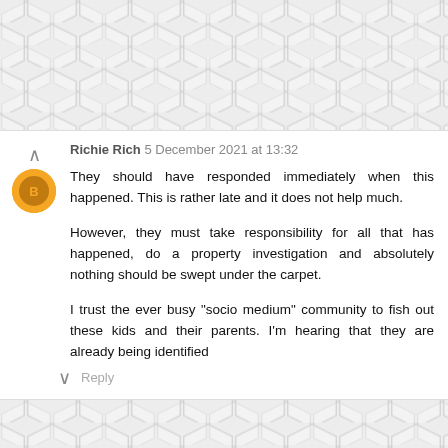[Figure (illustration): Hexagonal tile background pattern at top of page, light grey]
Richie Rich 5 December 2021 at 13:32

They should have responded immediately when this happened. This is rather late and it does not help much.

However, they must take responsibility for all that has happened, do a property investigation and absolutely nothing should be swept under the carpet.

I trust the ever busy "socio medium" community to fish out these kids and their parents. I'm hearing that they are already being identified
Reply
[Figure (illustration): Hexagonal tile background pattern at bottom of page, light grey]